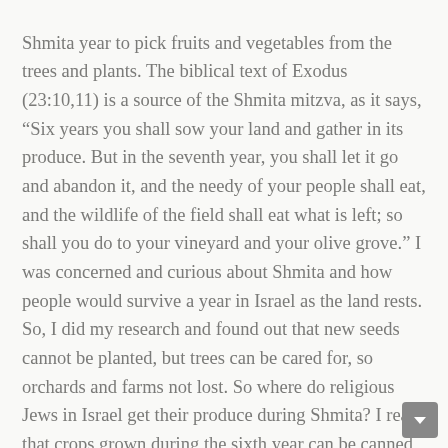Shmita year to pick fruits and vegetables from the trees and plants. The biblical text of Exodus (23:10,11) is a source of the Shmita mitzva, as it says, “Six years you shall sow your land and gather in its produce. But in the seventh year, you shall let it go and abandon it, and the needy of your people shall eat, and the wildlife of the field shall eat what is left; so shall you do to your vineyard and your olive grove.” I was concerned and curious about Shmita and how people would survive a year in Israel as the land rests. So, I did my research and found out that new seeds cannot be planted, but trees can be cared for, so orchards and farms not lost. So where do religious Jews in Israel get their produce during Shmita? I read that crops grown during the sixth year can be canned and preserved for the seventh year. Also, produce grown on